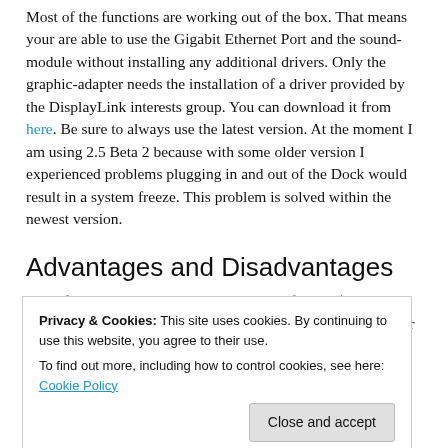Most of the functions are working out of the box. That means your are able to use the Gigabit Ethernet Port and the sound-module without installing any additional drivers. Only the graphic-adapter needs the installation of a driver provided by the DisplayLink interests group. You can download it from here. Be sure to always use the latest version. At the moment I am using 2.5 Beta 2 because with some older version I experienced problems plugging in and out of the Dock would result in a system freeze. This problem is solved within the newest version.
Advantages and Disadvantages
One of the biggest advantage is the price of about $80. You will get a very complete docking solution for you MacBook or any other Mac notebook and provide a stable stand for your book.
I can't see any real disadvantage, but you should be aware of, that the DisplayLink technology uses you CPU to provide
Privacy & Cookies: This site uses cookies. By continuing to use this website, you agree to their use.
To find out more, including how to control cookies, see here: Cookie Policy